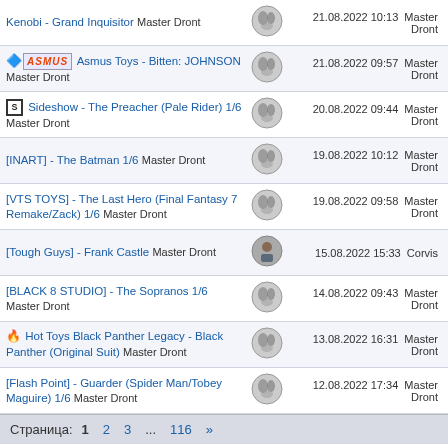Kenobi - Grand Inquisitor  Master Dront | 21.08.2022 10:13 Master Dront
Asmus Toys - Bitten: JOHNSON  Master Dront | 21.08.2022 09:57 Master Dront
Sideshow - The Preacher (Pale Rider) 1/6  Master Dront | 20.08.2022 09:44 Master Dront
[INART] - The Batman 1/6  Master Dront | 19.08.2022 10:12 Master Dront
[VTS TOYS] - The Last Hero (Final Fantasy 7 Remake/Zack) 1/6  Master Dront | 19.08.2022 09:58 Master Dront
[Tough Guys] - Frank Castle  Master Dront | 15.08.2022 15:33 Corvis
[BLACK 8 STUDIO] - The Sopranos 1/6  Master Dront | 14.08.2022 09:43 Master Dront
Hot Toys Black Panther Legacy - Black Panther (Original Suit)  Master Dront | 13.08.2022 16:31 Master Dront
[Flash Point] - Guarder (Spider Man/Tobey Maguire) 1/6  Master Dront | 12.08.2022 17:34 Master Dront
Страница: 1 2 3 ... 116 »
Форум Art and Toys (RUS)
Дата Создания MMXIV
Keep on Rolling c 2014